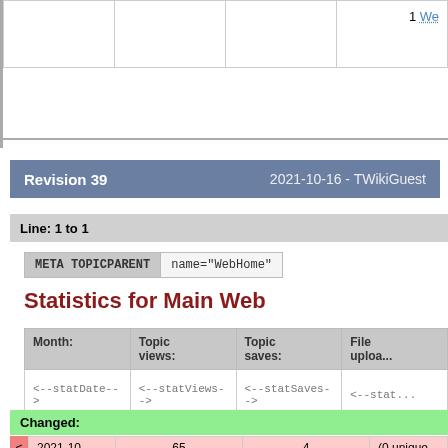|  |  |  | 1 We... |
| --- | --- | --- | --- |
|   |   |   |   |
Revision 39   2021-10-16 - TWikiGuest
Line: 1 to 1
META TOPICPARENT   name="WebHome"
Statistics for Main Web
| Month: | Topic views: | Topic saves: | File upload... |
| --- | --- | --- | --- |
| <--statDate--> | <--statViews--> | <--statSaves--> | <--stat... |
Changed:
|  | 65
(3 unique users) | 4
(3 unique users) | (0 unique users... |
| --- | --- | --- | --- |
| 2021-10 | 65
(3 unique users) | 4
(3 unique users) | (0 unique users) |